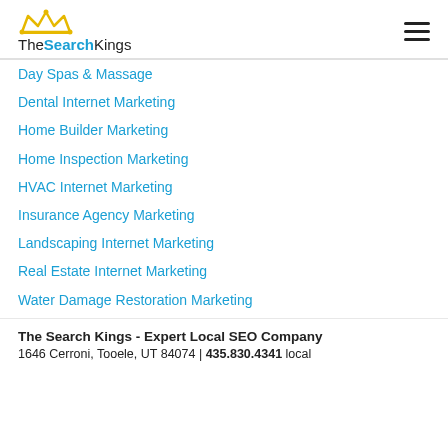[Figure (logo): The Search Kings logo with golden crown icon and blue 'Search' text]
Day Spas & Massage
Dental Internet Marketing
Home Builder Marketing
Home Inspection Marketing
HVAC Internet Marketing
Insurance Agency Marketing
Landscaping Internet Marketing
Real Estate Internet Marketing
Water Damage Restoration Marketing
The Search Kings - Expert Local SEO Company
1646 Cerroni, Tooele, UT 84074 | 435.830.4341 local